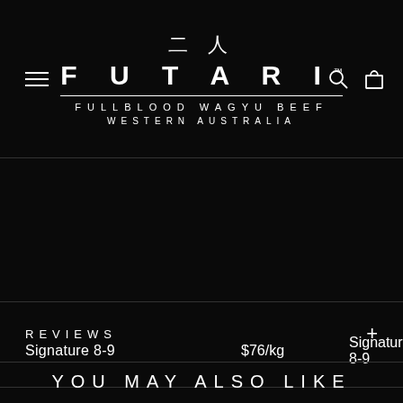[Figure (logo): Futari Fullblood Wagyu Beef logo with Japanese kanji characters above the brand name, subtitle FULLBLOOD WAGYU BEEF and WESTERN AUSTRALIA, on black background with hamburger menu, search and cart icons]
| Signature 8-9 | $76/kg | Signature 8-9 |
| Luxury A5 9+ | $83/kg | Luxury A5 9+ |
REVIEWS
YOU MAY ALSO LIKE